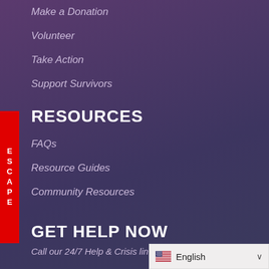Make a Donation
Volunteer
Take Action
Support Survivors
RESOURCES
FAQs
Resource Guides
Community Resources
GET HELP NOW
Call our 24/7 Help & Crisis lin…
English